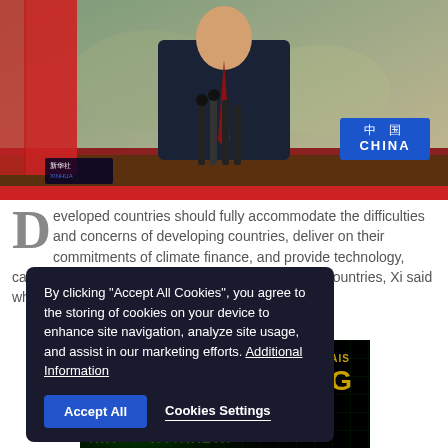[Figure (photo): Photo of a Chinese official seated at a conference table with a red tablecloth, CHINA nameplate in blue on right, red flags on left, Xinhua watermark, red border at bottom.]
Developed countries should fully accommodate the difficulties and concerns of developing countries, deliver on their commitments of climate finance, and provide technology, capacity-building and other support for developing countries, Xi said while addressing the 16th G20 Leaders' S[ummit]
By clicking "Accept All Cookies", you agree to the storing of cookies on your device to enhance site navigation, analyze site usage, and assist in our marketing efforts. Additional Information
[Figure (advertisement): AIS 5G advertisement with dark background, green grid pattern, Thai text reading '3 เหตุผล มีถึง 5G ทำไมต้องที่ AIS' in bright green and gold colors.]